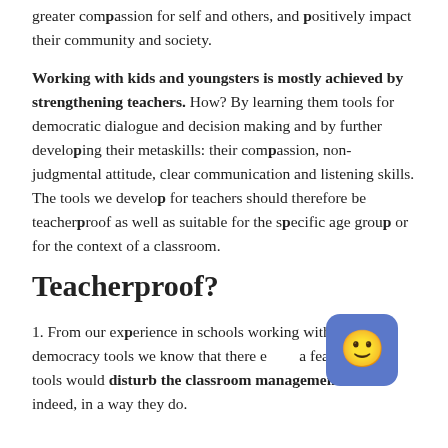greater compassion for self and others, and positively impact their community and society.
Working with kids and youngsters is mostly achieved by strengthening teachers. How? By learning them tools for democratic dialogue and decision making and by further developing their metaskills: their compassion, non-judgmental attitude, clear communication and listening skills. The tools we develop for teachers should therefore be teacherproof as well as suitable for the specific age group or for the context of a classroom.
Teacherproof?
1. From our experience in schools working with the deep democracy tools we know that there exists a fear that these tools would disturb the classroom management. And indeed, in a way they do.